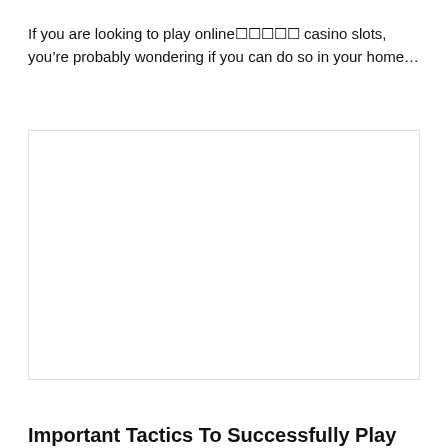If you are looking to play online☐☐☐☐☐ casino slots, you’re probably wondering if you can do so in your home...
[Figure (other): Large blank/white image placeholder area with a thin border]
ALL
Important Tactics To Successfully Play Indonesian Online Slot Sites